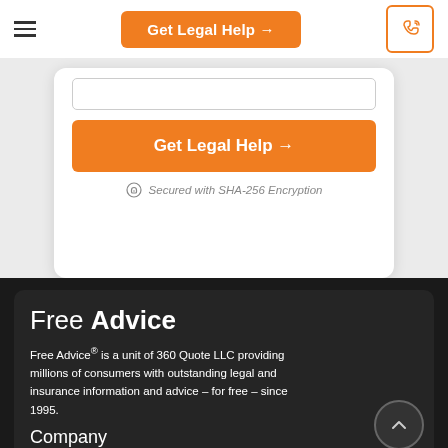Get Legal Help →
[Figure (screenshot): Input field (text box) partially visible at top of card]
Get Legal Help →
Secured with SHA-256 Encryption
Free Advice
Free Advice® is a unit of 360 Quote LLC providing millions of consumers with outstanding legal and insurance information and advice – for free – since 1995.
Company